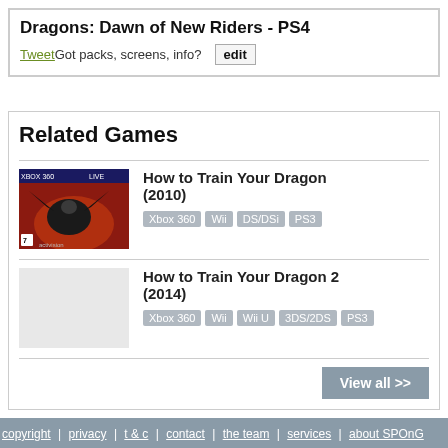Dragons: Dawn of New Riders - PS4
Tweet Got packs, screens, info? edit
Related Games
How to Train Your Dragon (2010)
Xbox 360 | Wii | DS/DSi | PS3
How to Train Your Dragon 2 (2014)
Xbox 360 | Wii | Wii U | 3DS/2DS | PS3
View all >>
copyright | privacy | t & c | contact | the team | services | about SPOnG